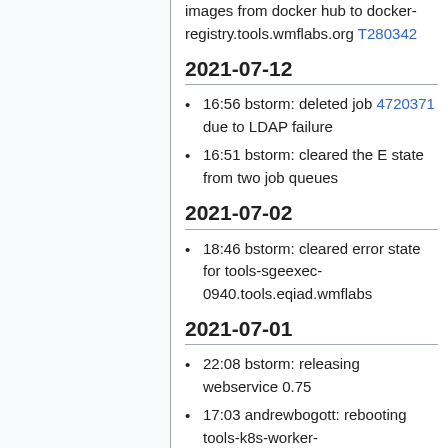images from docker hub to docker-registry.tools.wmflabs.org T280342
2021-07-12
16:56 bstorm: deleted job 4720371 due to LDAP failure
16:51 bstorm: cleared the E state from two job queues
2021-07-02
18:46 bstorm: cleared error state for tools-sgeexec-0940.tools.eqiad.wmflabs
2021-07-01
22:08 bstorm: releasing webservice 0.75
17:03 andrewbogott: rebooting tools-k8s-worker-[31,33,35,44,49,51,57-58,70].tools.eqiad1.wikimedia.cloud